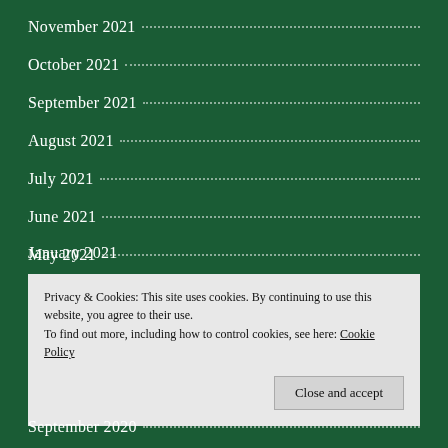November 2021
October 2021
September 2021
August 2021
July 2021
June 2021
May 2021
April 2021
March 2021
February 2021
January 2021
Privacy & Cookies: This site uses cookies. By continuing to use this website, you agree to their use.
To find out more, including how to control cookies, see here: Cookie Policy
September 2020